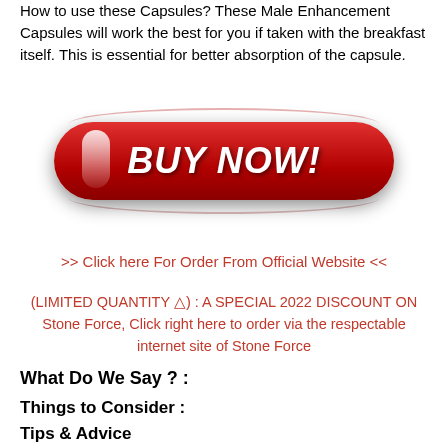How to use these Capsules? These Male Enhancement Capsules will work the best for you if taken with the breakfast itself. This is essential for better absorption of the capsule.
[Figure (illustration): Red rounded BUY NOW! button with white shine effect and shadow arcs above and below]
>> Click here For Order From Official Website <<
(LIMITED QUANTITY ⚠) : A SPECIAL 2022 DISCOUNT ON Stone Force, Click right here to order via the respectable internet site of Stone Force
What Do We Say ? :
Things to Consider :
Tips & Advice